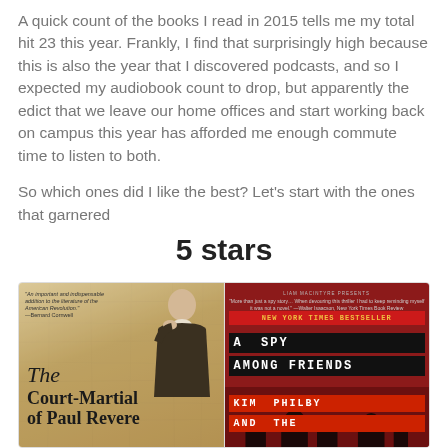A quick count of the books I read in 2015 tells me my total hit 23 this year. Frankly, I find that surprisingly high because this is also the year that I discovered podcasts, and so I expected my audiobook count to drop, but apparently the edict that we leave our home offices and start working back on campus this year has afforded me enough commute time to listen to both.

So which ones did I like the best? Let's start with the ones that garnered
5 stars
[Figure (photo): Book cover of 'The Court-Martial of Paul Revere' showing a portrait of a colonial-era man in dark clothing against a parchment-colored background with the book title in the lower left.]
[Figure (photo): Book cover of 'A Spy Among Friends: Kim Philby and The...' with New York Times Bestseller banner, black title blocks with white monospace text, and red background with onion dome silhouette.]